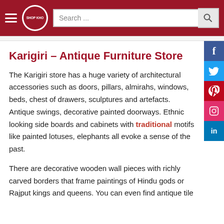SHOP KHO — Search bar
Karigiri – Antique Furniture Store
The Karigiri store has a huge variety of architectural accessories such as doors, pillars, almirahs, windows, beds, chest of drawers, sculptures and artefacts. Antique swings, decorative painted doorways. Ethnic looking side boards and cabinets with traditional motifs like painted lotuses, elephants all evoke a sense of the past.
There are decorative wooden wall pieces with richly carved borders that frame paintings of Hindu gods or Rajput kings and queens. You can even find antique tile